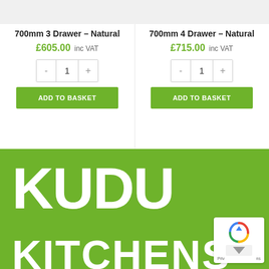[Figure (screenshot): Product image strip top-left (700mm 3 Drawer Natural)]
700mm 3 Drawer – Natural
£605.00 inc VAT
[Figure (screenshot): Product image strip top-right (700mm 4 Drawer Natural)]
700mm 4 Drawer – Natural
£715.00 inc VAT
[Figure (logo): Kudu Kitchens logo on green background with white text KUDU KITCHENS]